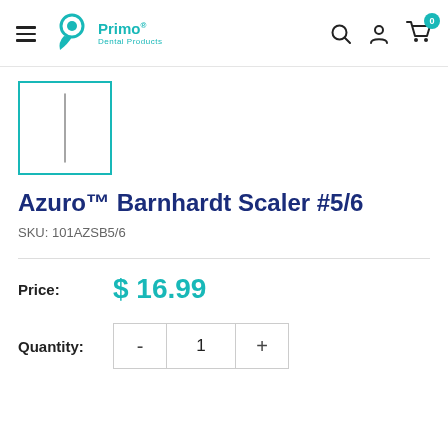Primo Dental Products — navigation bar with search, account, and cart icons
[Figure (photo): Small product thumbnail showing a thin dental scaler instrument on white background, framed by a teal border]
Azuro™ Barnhardt Scaler #5/6
SKU: 101AZSB5/6
Price: $ 16.99
Quantity: - 1 +